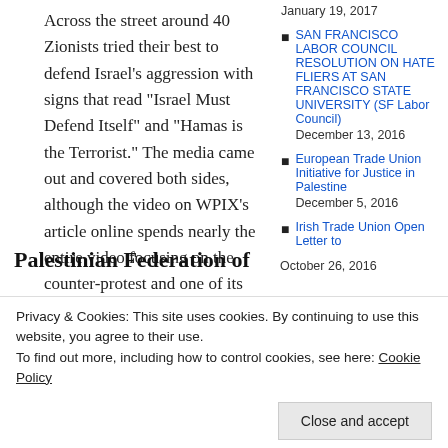Across the street around 40 Zionists tried their best to defend Israel’s aggression with signs that read “Israel Must Defend Itself” and “Hamas is the Terrorist.” The media came out and covered both sides, although the video on WPIX’s article online spends nearly the entire video focusing on the counter-protest and one of its speakers.
ANSWER Coalition has sponsored another rally in Times Square on January 3rd, 2008 at 1PM.
Posted in...
January 19, 2017
SAN FRANCISCO LABOR COUNCIL RESOLUTION ON HATE FLIERS AT SAN FRANCISCO STATE UNIVERSITY (SF Labor Council) December 13, 2016
European Trade Union Initiative for Justice in Palestine December 5, 2016
Irish Trade Union Open Letter to
Privacy & Cookies: This site uses cookies. By continuing to use this website, you agree to their use.
To find out more, including how to control cookies, see here: Cookie Policy
Close and accept
Palestinian Federation of
October 26, 2016